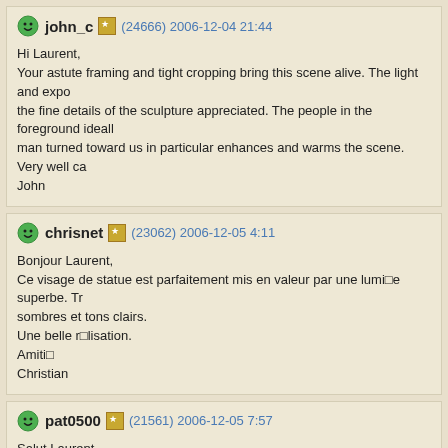john_c (24666) 2006-12-04 21:44
Hi Laurent,
Your astute framing and tight cropping bring this scene alive. The light and expo the fine details of the sculpture appreciated. The people in the foreground ideall man turned toward us in particular enhances and warms the scene. Very well ca John
chrisnet (23062) 2006-12-05 4:11
Bonjour Laurent,
Ce visage de statue est parfaitement mis en valeur par une lumière superbe. Tr sombres et tons clairs.
Une belle réalisation.
Amitié
Christian
pat0500 (21561) 2006-12-05 7:57
Salut Laurent,
J'aime beaucoup cette photo, ton point de vue est bien choisi, le reflet du buldin les comprends les pauvres avec leurs cigarettes dehors....:)
J'aime beaucoup également cette tête en pierre ou marbre qui est bien sur l'acteur photo...!